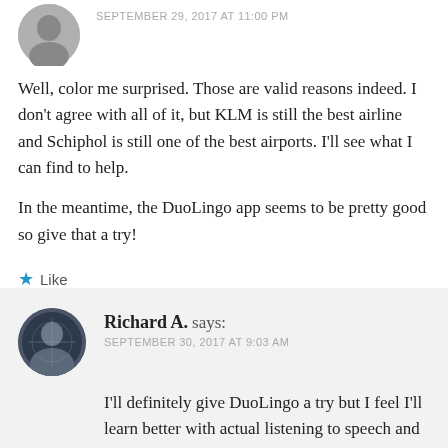SEPTEMBER 29, 2017 AT 11:00 PM
Well, color me surprised. Those are valid reasons indeed. I don't agree with all of it, but KLM is still the best airline and Schiphol is still one of the best airports. I'll see what I can find to help.
In the meantime, the DuoLingo app seems to be pretty good so give that a try!
Like
REPLY
Richard A. says:
SEPTEMBER 30, 2017 AT 9:03 AM
I'll definitely give DuoLingo a try but I feel I'll learn better with actual listening to speech and conversations. But I'll try